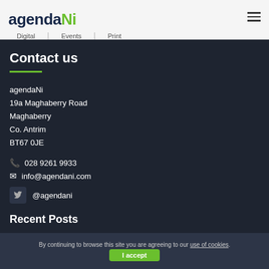agendaNi — Digital | Events | Print
Contact us
agendaNi
19a Maghaberry Road
Maghaberry
Co. Antrim
BT67 0JE
028 9261 9933
info@agendani.com
@agendani
Recent Posts
By continuing to browse this site you are agreeing to our use of cookies.
I accept